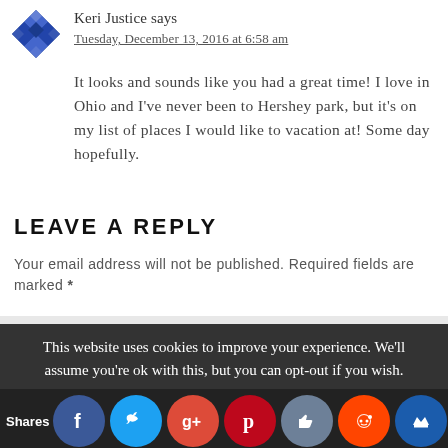[Figure (illustration): Blue geometric quilt-pattern avatar icon for user Keri Justice]
Keri Justice says
Tuesday, December 13, 2016 at 6:58 am
It looks and sounds like you had a great time! I love in Ohio and I've never been to Hershey park, but it's on my list of places I would like to vacation at! Some day hopefully.
LEAVE A REPLY
Your email address will not be published. Required fields are marked *
This website uses cookies to improve your experience. We'll assume you're ok with this, but you can opt-out if you wish.
[Figure (infographic): Social sharing buttons: Facebook, Twitter, Google+, Pinterest, like/thumbs-up, Reddit, crown/share icon, with Shares label]